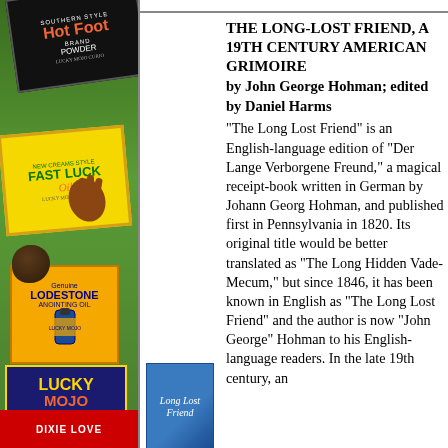[Figure (photo): Left column showing Lucky Mojo Curio Co. product labels including Hot Foot Powder, Fast Luck Oil, Lodestone Anointing Oil, Lucky Mojo Curio Co. logo, and Dixie Love label on a green background.]
THE LONG-LOST FRIEND, A 19TH CENTURY AMERICAN GRIMOIRE by John George Hohman; edited by Daniel Harms "The Long Lost Friend" is an English-language edition of "Der Lange Verborgene Freund," a magical receipt-book written in German by Johann Georg Hohman, and published first in Pennsylvania in 1820. Its original title would be better translated as "The Long Hidden Vade-Mecum," but since 1846, it has been known in English as "The Long Lost Friend" and the author is now "John George" Hohman to his English-language readers. In the late 19th century, an
[Figure (photo): Book cover of 'Long Lost Friend' shown as a small blue thumbnail image.]